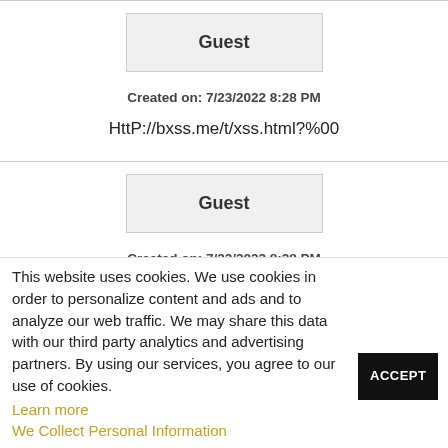Guest
Created on: 7/23/2022 8:28 PM
HttP://bxss.me/t/xss.html?%00
Guest
Created on: 7/23/2022 8:28 PM
This website uses cookies. We use cookies in order to personalize content and ads and to analyze our web traffic. We may share this data with our third party analytics and advertising partners. By using our services, you agree to our use of cookies.
Learn more
We Collect Personal Information